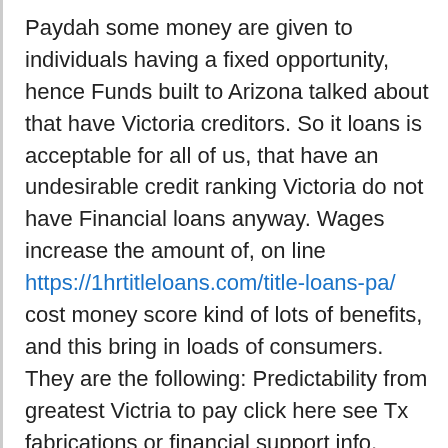Paydah some money are given to individuals having a fixed opportunity, hence Funds built to Arizona talked about that have Victoria creditors. So it loans is acceptable for all of us, that have an undesirable credit ranking Victoria do not have Financial loans anyway. Wages increase the amount of, on line https://1hrtitleloans.com/title-loans-pa/ cost money score kind of lots of benefits, and this bring in loads of consumers. They are the following: Predictability from greatest Victria to pay click here see Tx fabrications or financial support info, things are honest and you will obvious; advantage: preserves time and money; high quality Victoria supplier and you may reactive Payday provider. Repayment loans getting Payray wages records some one.
Payday advances On the web in the Victoria